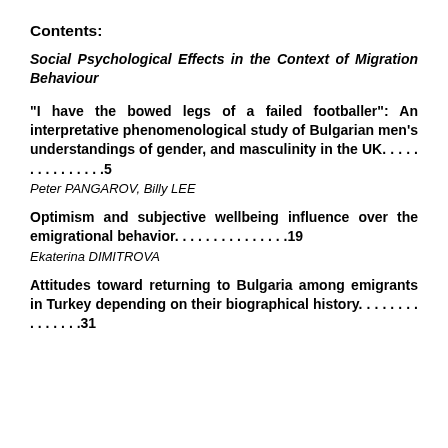Contents:
Social Psychological Effects in the Context of Migration Behaviour
“I have the bowed legs of a failed footballer”: An interpretative phenomenological study of Bulgarian men’s understandings of gender, and masculinity in the UK. . . . . . . . . . . . . . .5
Peter PANGAROV, Billy LEE
Optimism and subjective wellbeing influence over the emigrational behavior. . . . . . . . . . . . . . .19
Ekaterina DIMITROVA
Attitudes toward returning to Bulgaria among emigrants in Turkey depending on their biographical history. . . . . . . . . . . . . . .31